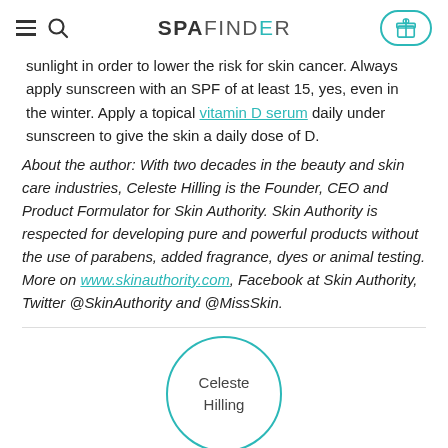SPAFINDER
sunlight in order to lower the risk for skin cancer. Always apply sunscreen with an SPF of at least 15, yes, even in the winter. Apply a topical vitamin D serum daily under sunscreen to give the skin a daily dose of D.
About the author: With two decades in the beauty and skin care industries, Celeste Hilling is the Founder, CEO and Product Formulator for Skin Authority. Skin Authority is respected for developing pure and powerful products without the use of parabens, added fragrance, dyes or animal testing. More on www.skinauthority.com, Facebook at Skin Authority, Twitter @SkinAuthority and @MissSkin.
[Figure (illustration): Circular avatar placeholder with teal border containing the text 'Celeste Hilling']